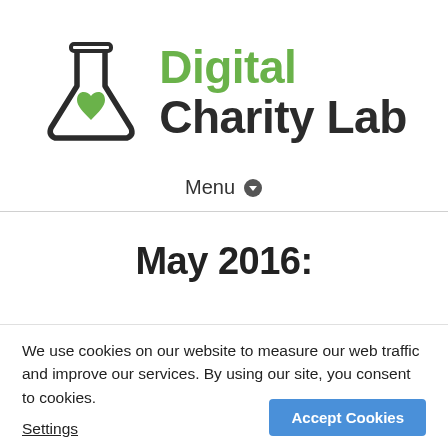[Figure (logo): Digital Charity Lab logo: flask/beaker icon with a green heart inside, next to text 'Digital Charity Lab' in green and dark grey bold font]
Menu ▾
May 2016:
We use cookies on our website to measure our web traffic and improve our services. By using our site, you consent to cookies.
Settings